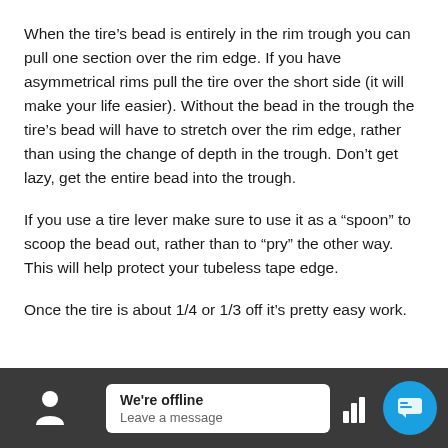When the tire’s bead is entirely in the rim trough you can pull one section over the rim edge. If you have asymmetrical rims pull the tire over the short side (it will make your life easier). Without the bead in the trough the tire’s bead will have to stretch over the rim edge, rather than using the change of depth in the trough. Don’t get lazy, get the entire bead into the trough.
If you use a tire lever make sure to use it as a “spoon” to scoop the bead out, rather than to “pry” the other way. This will help protect your tubeless tape edge.
Once the tire is about 1/4 or 1/3 off it’s pretty easy work.
We’re offline | Leave a message